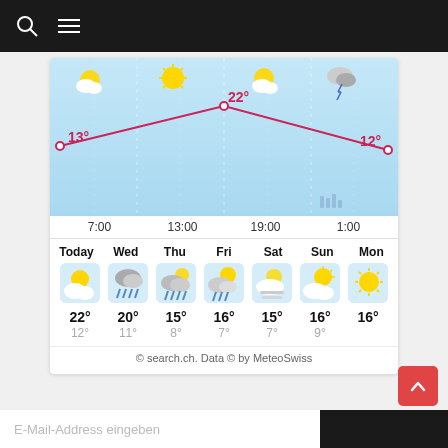Navigation header with search and menu icons
[Figure (continuous-plot): Weather temperature line chart over time. Shows a curve starting at 13° at 7:00, rising to 22° at 13:00, then falling to 12° at 1:00. Weather icons show partly cloudy, sunny, partly cloudy, and stormy conditions. Background is light blue.]
| Today | Wed | Thu | Fri | Sat | Sun | Mon |
| --- | --- | --- | --- | --- | --- | --- |
| ☁️☀ | 🌧 | 🌧 | ⛈ | ☁️ | ⛅ | ☀ |
| 22° | 20° | 15° | 16° | 15° | 16° | 16° |
| 12° | 11° | 8° | 7° | 7° | 9° |  |
© search.ch. Data © by MeteoSwiss
E-Mail-Address eingeben